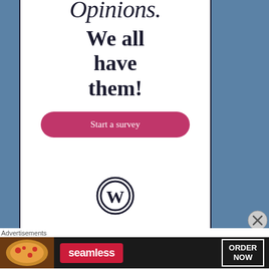[Figure (infographic): WordPress Polls widget advertisement. White panel with dark blue border on left and right, blue background on sides. Large italic serif text reads 'Opinions. We all have them!' A pink rounded button says 'Start a survey'. WordPress logo (circle with W) at the bottom.]
Advertisements
[Figure (infographic): Seamless food delivery advertisement banner. Dark background with pizza image on left, Seamless logo in red, and 'ORDER NOW' button outlined in white on right.]